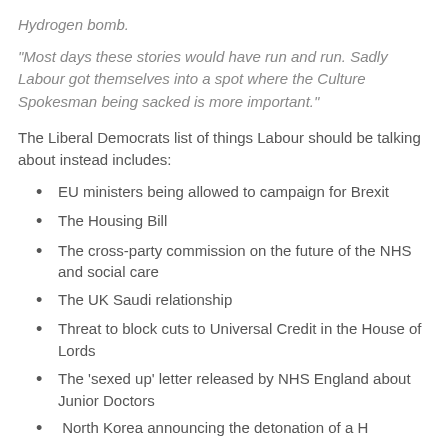Hydrogen bomb.
"Most days these stories would have run and run. Sadly Labour got themselves into a spot where the Culture Spokesman being sacked is more important."
The Liberal Democrats list of things Labour should be talking about instead includes:
EU ministers being allowed to campaign for Brexit
The Housing Bill
The cross-party commission on the future of the NHS and social care
The UK Saudi relationship
Threat to block cuts to Universal Credit in the House of Lords
The 'sexed up' letter released by NHS England about Junior Doctors
North Korea announcing the detonation of a H